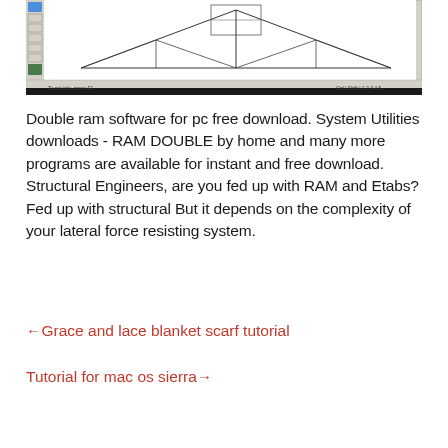[Figure (screenshot): Screenshot of a structural engineering CAD/software application showing a roof truss wireframe drawing with toolbars and a status bar at the bottom.]
Double ram software for pc free download. System Utilities downloads - RAM DOUBLE by home and many more programs are available for instant and free download. Structural Engineers, are you fed up with RAM and Etabs? Fed up with structural But it depends on the complexity of your lateral force resisting system.
←Grace and lace blanket scarf tutorial
Tutorial for mac os sierra→